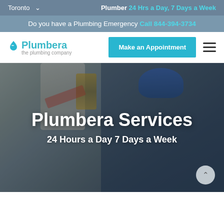Toronto ∨   Plumber 24 Hrs a Day, 7 Days a Week
Do you have a Plumbing Emergency Call 844-394-3734
[Figure (logo): Plumbera the plumbing company logo with water drop icon]
Make an Appointment
[Figure (photo): A plumber in a blue hard hat and work jacket fixing pipes, overlaid with text 'Plumbera Services' and '24 Hours a Day 7 Days a Week']
Plumbera Services
24 Hours a Day 7 Days a Week